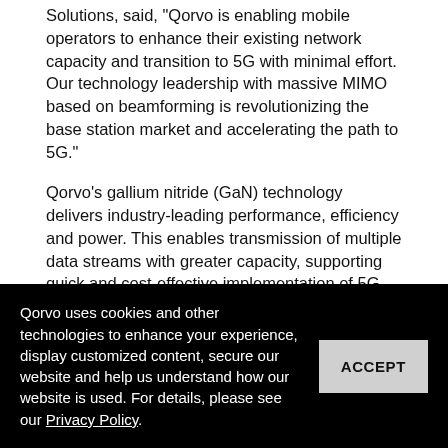Solutions, said, "Qorvo is enabling mobile operators to enhance their existing network capacity and transition to 5G with minimal effort. Our technology leadership with massive MIMO based on beamforming is revolutionizing the base station market and accelerating the path to 5G."
Qorvo's gallium nitride (GaN) technology delivers industry-leading performance, efficiency and power. This enables transmission of multiple data streams with greater capacity, supporting quick and cost-effective implementation of 5G networks.
New Qorvo products that are available now to wireless infrastructure customers include the QPB9337 Dual-Channel Switch LNA module, the QPL9057 Ultra-Low NF LNA, and the QPA3503 Doherty Power Amplifier module.
Qorvo uses cookies and other technologies to enhance your experience, display customized content, secure our website and help us understand how our website is used. For details, please see our Privacy Policy.